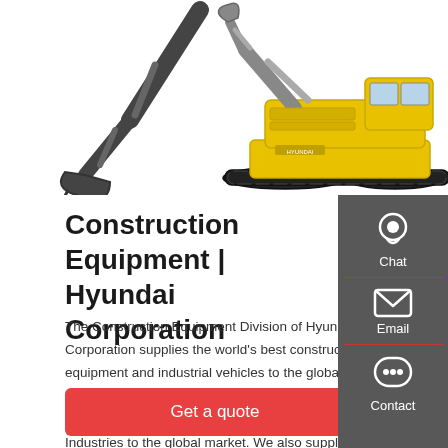[Figure (photo): Two construction excavators side by side — a dark grey/black excavator arm/bucket on the left and a yellow Hyundai tracked excavator on the right]
Construction Equipment | Hyundai Corporation
The Construction Equipment Division of Hyundai Corporation supplies the world's best construction equipment and industrial vehicles to the global market. These include excavators, wheel loaders, and forklifts manufactured by Hyundai Heavy Industries to the global market. We also supply customized supplementary equipment (attachments), pumping
[Figure (infographic): Dark grey sidebar panel on right with three icons and labels: Chat (headset icon), Email (envelope icon), Contact (speech bubble icon), separated by red lines]